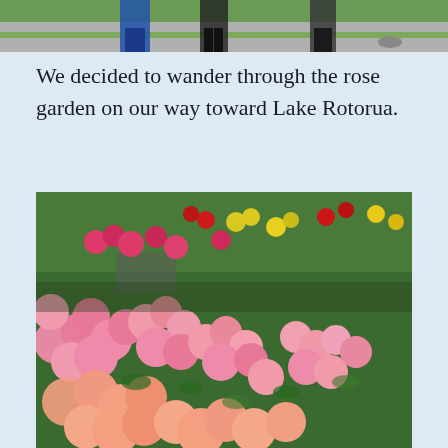[Figure (photo): Partial view of people walking on a path, cropped at top of page]
We decided to wander through the rose garden on our way toward Lake Rotorua.
[Figure (photo): Colorful rose garden with abundant pink, red, and yellow roses in bloom]